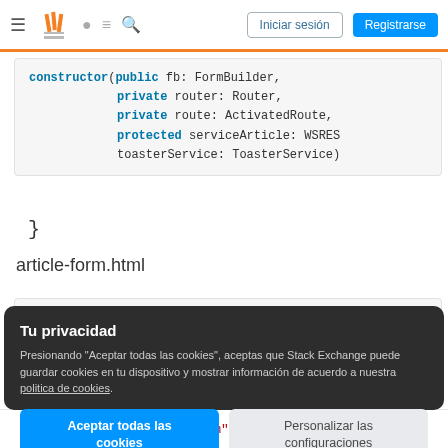Stack Overflow navigation bar with Iniciar sesión and Registrarse buttons
[Figure (screenshot): Code snippet showing constructor with public fb: FormBuilder, private router: Router, private route: ActivatedRoute, protected serviceArticle: WSRES, toasterService: ToasterService]
}
article-form.html
Tu privacidad
Presionando "Aceptar todas las cookies", aceptas que Stack Exchange puede guardar cookies en tu dispositivo y mostrar información de acuerdo a nuestra politica de cookies.
Aceptar todas las cookies
Personalizar las configuraciones
[Figure (screenshot): Partial code snippet showing <form [formGroup]="trxForm">]